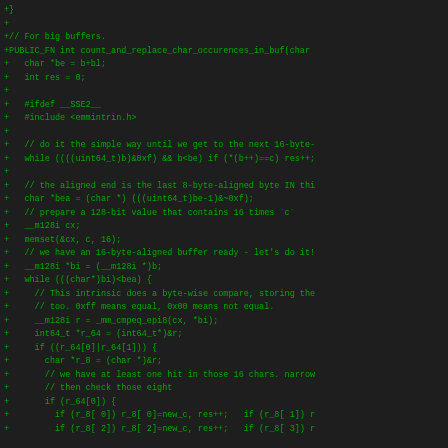[Figure (other): Source code diff showing C code for count_and_replace_char_occurences_in_buf function with SSE2 SIMD optimization, displayed as green monospace text on dark background]